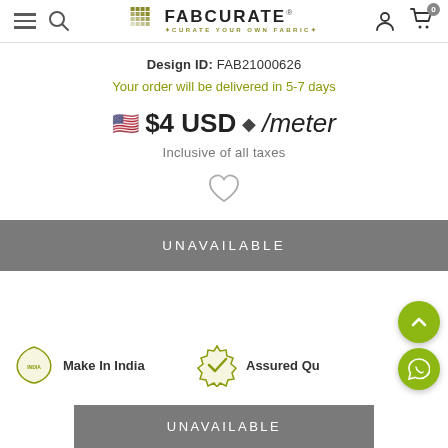FabCurate - Curate Your Own Fabric
Design ID: FAB21000626
Your order will be delivered in 5-7 days
🇺🇸 $4 USD ⬦ /meter
Inclusive of all taxes
UNAVAILABLE
Make In India
Assured Quality
UNAVAILABLE